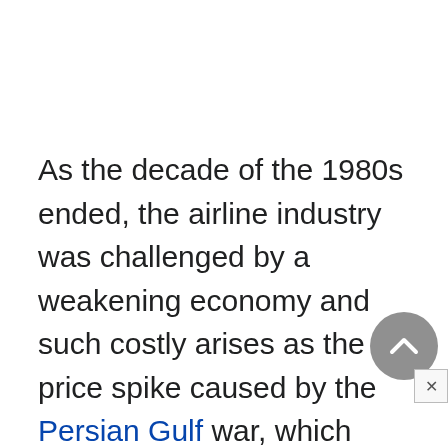As the decade of the 1980s ended, the airline industry was challenged by a weakening economy and such costly arises as the fuel price spike caused by the Persian Gulf war, which contributed to industry losses of $2.4 billion in 1990. American pursued a strategy of acquiring key overseas routes from troubled or failed airlines.